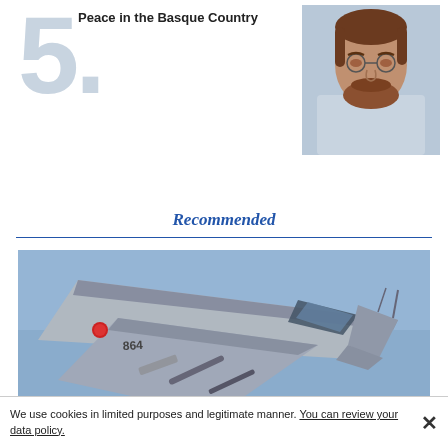5.
Peace in the Basque Country
[Figure (photo): Headshot photo of a middle-aged man with beard, wearing a light blue shirt, looking sideways]
Recommended
[Figure (photo): Fighter jet (F-16 type, number 864) in flight against a blue sky, photographed from above at an angle]
We use cookies in limited purposes and legitimate manner. You can review your data policy.